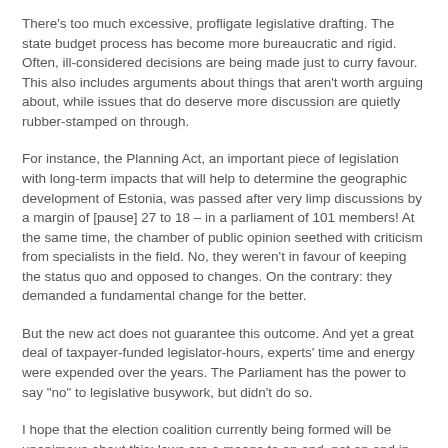There's too much excessive, profligate legislative drafting. The state budget process has become more bureaucratic and rigid. Often, ill-considered decisions are being made just to curry favour. This also includes arguments about things that aren't worth arguing about, while issues that do deserve more discussion are quietly rubber-stamped on through.
For instance, the Planning Act, an important piece of legislation with long-term impacts that will help to determine the geographic development of Estonia, was passed after very limp discussions by a margin of [pause] 27 to 18 – in a parliament of 101 members! At the same time, the chamber of public opinion seethed with criticism from specialists in the field. No, they weren't in favour of keeping the status quo and opposed to changes. On the contrary: they demanded a fundamental change for the better.
But the new act does not guarantee this outcome. And yet a great deal of taxpayer-funded legislator-hours, experts' time and energy were expended over the years. The Parliament has the power to say "no" to legislative busywork, but didn't do so.
I hope that the election coalition currently being formed will be unanimous about this: laws are a means to an end, not an end in